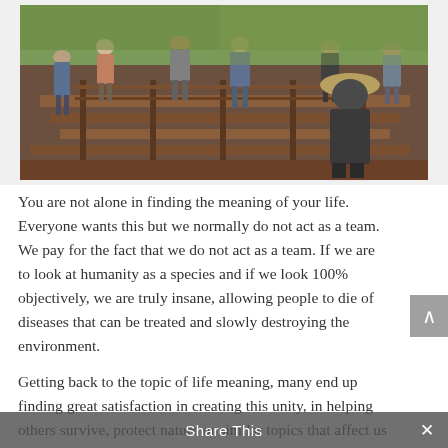[Figure (photo): Group of people wearing hats and casual outdoor clothing standing on a wooden boardwalk or deck structure in a green outdoor setting, appearing to be a nature tour or educational group outing.]
You are not alone in finding the meaning of your life. Everyone wants this but we normally do not act as a team. We pay for the fact that we do not act as a team. If we are to look at humanity as a species and if we look 100% objectively, we are truly insane, allowing people to die of diseases that can be treated and slowly destroying the environment.
Getting back to the topic of life meaning, many end up finding great satisfaction in creating this unity, in helping others survive, protect nature or similar topics that affect us all. Finding our